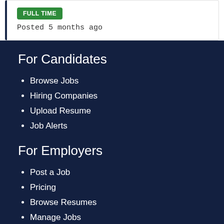FULL TIME
Posted 5 months ago
For Candidates
Browse Jobs
Hiring Companies
Upload Resume
Job Alerts
For Employers
Post a Job
Pricing
Browse Resumes
Manage Jobs
Account